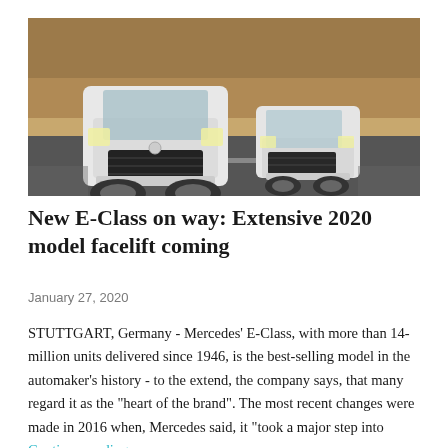[Figure (photo): Two white Mercedes E-Class sedans driving on a road with rocky hills in the background.]
New E-Class on way: Extensive 2020 model facelift coming
January 27, 2020
STUTTGART, Germany - Mercedes' E-Class, with more than 14-million units delivered since 1946, is the best-selling model in the automaker's history - to the extend, the company says, that many regard it as the "heart of the brand". The most recent changes were made in 2016 when, Mercedes said, it "took a major step into … Continue reading